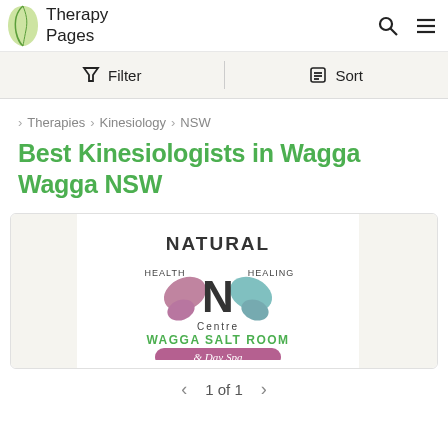Therapy Pages
Filter   Sort
> Therapies > Kinesiology > NSW
Best Kinesiologists in Wagga Wagga NSW
[Figure (logo): Natural Health & Healing Centre logo with Wagga Salt Room & Day Spa text]
1 of 1